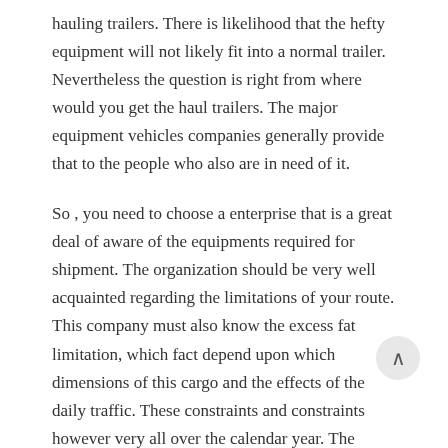hauling trailers. There is likelihood that the hefty equipment will not likely fit into a normal trailer. Nevertheless the question is right from where would you get the haul trailers. The major equipment vehicles companies generally provide that to the people who also are in need of it.
So , you need to choose a enterprise that is a great deal of aware of the equipments required for shipment. The organization should be very well acquainted regarding the limitations of your route. This company must also know the excess fat limitation, which fact depend upon which dimensions of this cargo and the effects of the daily traffic. These constraints and constraints however very all over the calendar year. The major equipment shipping and delivery company that you choose should be aware of the let requirements, that involves a police force permit or a